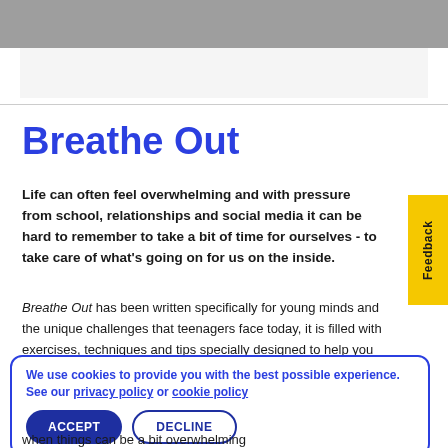[Figure (screenshot): Top navigation gray bar with button partially visible]
Breathe Out
Life can often feel overwhelming and with pressure from school, relationships and social media it can be hard to remember to take a bit of time for ourselves - to take care of what's going on for us on the inside.
Breathe Out has been written specifically for young minds and the unique challenges that teenagers face today, it is filled with exercises, techniques and tips specially designed to help you to take a step back and take a moment for yourself.
We use cookies to provide you with the best possible experience. See our privacy policy or cookie policy
when things can be a bit overwhelming